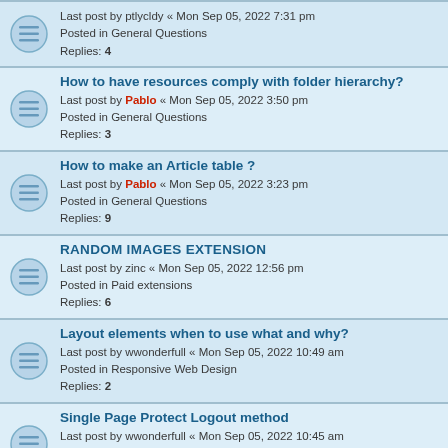Last post by ptlycldy « Mon Sep 05, 2022 7:31 pm
Posted in General Questions
Replies: 4
How to have resources comply with folder hierarchy?
Last post by Pablo « Mon Sep 05, 2022 3:50 pm
Posted in General Questions
Replies: 3
How to make an Article table ?
Last post by Pablo « Mon Sep 05, 2022 3:23 pm
Posted in General Questions
Replies: 9
RANDOM IMAGES EXTENSION
Last post by zinc « Mon Sep 05, 2022 12:56 pm
Posted in Paid extensions
Replies: 6
Layout elements when to use what and why?
Last post by wwonderfull « Mon Sep 05, 2022 10:49 am
Posted in Responsive Web Design
Replies: 2
Single Page Protect Logout method
Last post by wwonderfull « Mon Sep 05, 2022 10:45 am
Posted in General Questions
Replies: 4
Fill array with image links?
Last post by Pablo « Mon Sep 05, 2022 8:54 am
Posted in Extension Builder
Replies: 10
Adding custom javascript in Oblect Properties > Events
Last post by crispy68 « Sat Sep 03, 2022 7:35 pm
Posted in General Questions